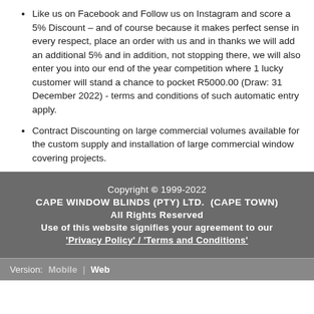Like us on Facebook and Follow us on Instagram and score a 5% Discount – and of course because it makes perfect sense in every respect, place an order with us and in thanks we will add an additional 5% and in addition, not stopping there, we will also enter you into our end of the year competition where 1 lucky customer will stand a chance to pocket R5000.00 (Draw: 31 December 2022) - terms and conditions of such automatic entry apply.
Contract Discounting on large commercial volumes available for the custom supply and installation of large commercial window covering projects.
Copyright © 1999-2022
CAPE WINDOW BLINDS (PTY) LTD.  (CAPE TOWN)
All Rights Reserved
Use of this website signifies your agreement to our
'Privacy Policy' / 'Terms and Conditions'
Version:  Mobile | Web